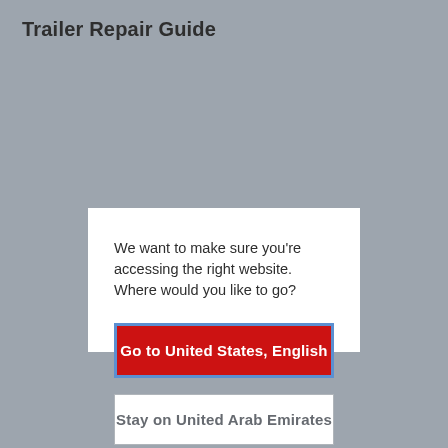Trailer Repair Guide
[Figure (screenshot): A dark red Download button with a download arrow icon and the label 'Download' in white text]
We want to make sure you're accessing the right website. Where would you like to go?
Go to United States, English
Stay on United Arab Emirates